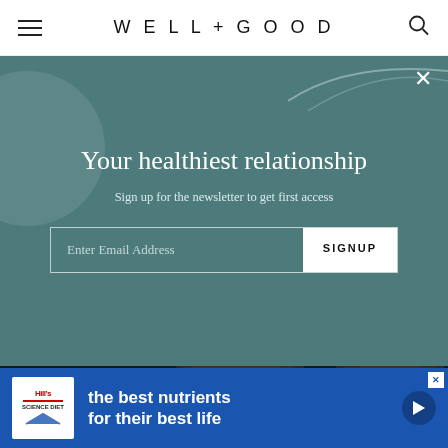WELL+GOOD
Your healthiest relationship
Sign up for the newsletter to get first access
[Figure (photo): Coconut photo showing whole and broken coconuts on dark background]
[Figure (screenshot): Hill's pet food advertisement banner with text 'the best nutrients for their best life']